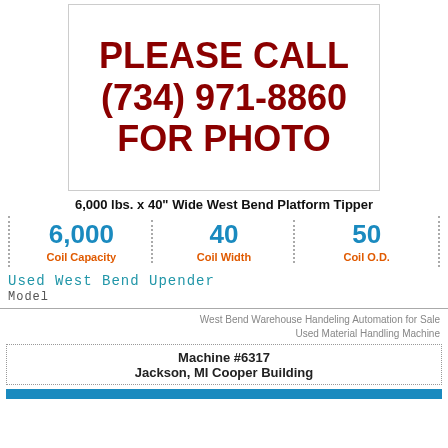[Figure (photo): Placeholder image with text: PLEASE CALL (734) 971-8860 FOR PHOTO]
6,000 lbs. x 40" Wide West Bend Platform Tipper
| Coil Capacity | Coil Width | Coil O.D. |
| --- | --- | --- |
| 6,000 | 40 | 50 |
Used West Bend Upender
Model
West Bend Warehouse Handeling Automation for Sale
Used Material Handling Machine
Machine #6317
Jackson, MI Cooper Building